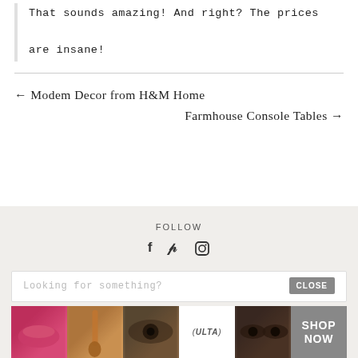That sounds amazing! And right? The prices are insane!
← Modem Decor from H&M Home
Farmhouse Console Tables →
FOLLOW
[Figure (infographic): Social media icons: Facebook (f), Pinterest (p), Instagram (camera)]
Looking for something?
[Figure (photo): Ulta Beauty advertisement banner showing makeup-related images (lips, brush, eye, Ulta logo, eyes) with a SHOP NOW button and CLOSE button overlay]